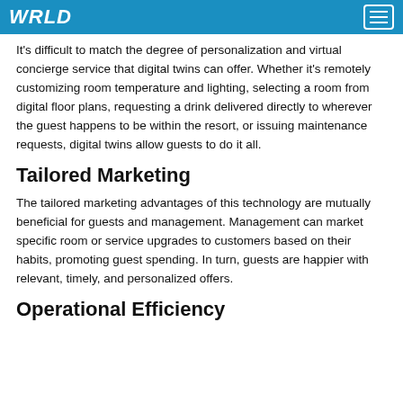WRLD
It's difficult to match the degree of personalization and virtual concierge service that digital twins can offer. Whether it's remotely customizing room temperature and lighting, selecting a room from digital floor plans, requesting a drink delivered directly to wherever the guest happens to be within the resort, or issuing maintenance requests, digital twins allow guests to do it all.
Tailored Marketing
The tailored marketing advantages of this technology are mutually beneficial for guests and management. Management can market specific room or service upgrades to customers based on their habits, promoting guest spending. In turn, guests are happier with relevant, timely, and personalized offers.
Operational Efficiency